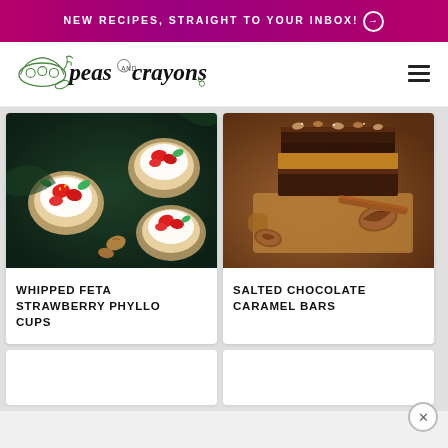NEW RECIPES, STRAIGHT TO YOUR INBOX! →
[Figure (logo): Peas and Crayons food blog logo with illustrated pea pod and hand-lettered script text 'peas and crayons']
[Figure (photo): Overhead photo of whipped feta strawberry phyllo cups with fresh strawberries and mint leaves on a dark background]
WHIPPED FETA STRAWBERRY PHYLLO CUPS
[Figure (photo): Close-up photo of stacked salted chocolate caramel bars with pecans on a wooden cutting board]
SALTED CHOCOLATE CARAMEL BARS